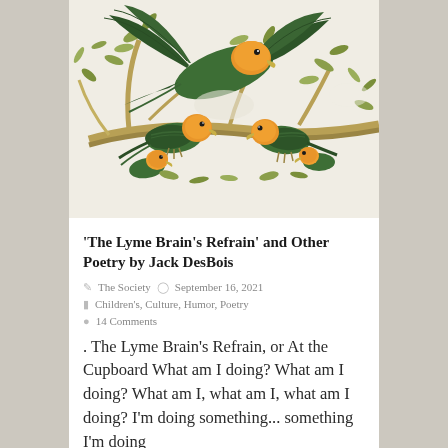[Figure (illustration): Botanical illustration of green parrots (Carolina Parakeets) with orange heads perched on branches with leaves, in the style of John James Audubon.]
'The Lyme Brain's Refrain' and Other Poetry by Jack DesBois
The Society   September 16, 2021
Children's, Culture, Humor, Poetry
14 Comments
. The Lyme Brain's Refrain, or At the Cupboard What am I doing? What am I doing? What am I, what am I, what am I doing? I'm doing something... something I'm doing